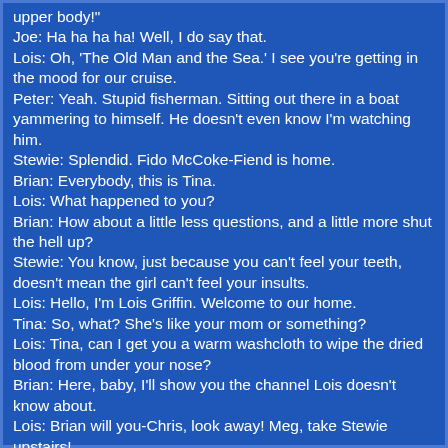upper body!"
Joe: Ha ha ha ha! Well, I do say that.
Lois: Oh, 'The Old Man and the Sea.' I see you're getting in the mood for our cruise.
Peter: Yeah. Stupid fisherman. Sitting out there in a boat yammering to himself. He doesn't even know I'm watching him.
Stewie: Splendid. Fido McCoke-Fiend is home.
Brian: Everybody, this is Tina.
Lois: What happened to you?
Brian: How about a little less questions, and a little more shut the hell up?
Stewie: You know, just because you can't feel your teeth, doesn't mean the girl can't feel your insults.
Lois: Hello, I'm Lois Griffin. Welcome to our home.
Tina: So, what? She's like your mom or something?
Lois: Tina, can I get you a warm washcloth to wipe the dried blood from under your nose?
Brian: Here, baby, I'll show you the channel Lois doesn't know about.
Lois: Brian will you-Chris, look away! Meg, take Stewie upstairs!
Stewie: Wait, wait! That man seems to have suffered a rather serious snakebite!
Lois: Brian, would you please ask your new friend to leave now?
Brian: Oh, sorry. Things getting a little too